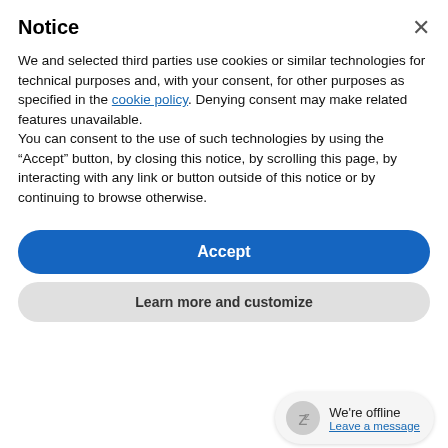Notice
We and selected third parties use cookies or similar technologies for technical purposes and, with your consent, for other purposes as specified in the cookie policy. Denying consent may make related features unavailable.
You can consent to the use of such technologies by using the “Accept” button, by closing this notice, by scrolling this page, by interacting with any link or button outside of this notice or by continuing to browse otherwise.
Accept
Learn more and customize
[Figure (logo): Cognitive eCommerce logo with red swoosh on grey background strip]
According to Forrester, B2B eCommerce in the U.S. will hit $12 trillion by 2021, seeing a Compound ... 7.4% over the next four years. It is therefore essential that B2B